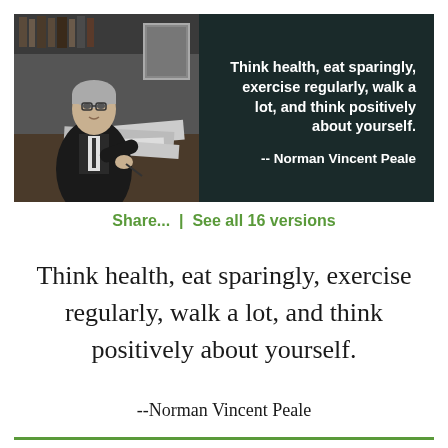[Figure (photo): Dark banner with black-and-white photo of Norman Vincent Peale seated at a desk writing, surrounded by papers and books. To the right on dark background is a bold white quote and author attribution.]
Share...  |  See all 16 versions
Think health, eat sparingly, exercise regularly, walk a lot, and think positively about yourself.
--Norman Vincent Peale